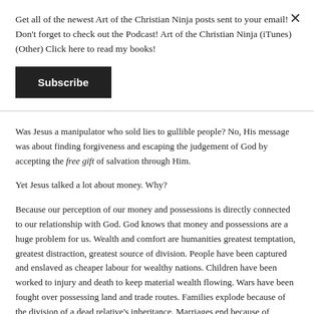Get all of the newest Art of the Christian Ninja posts sent to your email! Don't forget to check out the Podcast! Art of the Christian Ninja (iTunes) (Other) Click here to read my books!
Subscribe
Was Jesus a manipulator who sold lies to gullible people? No, His message was about finding forgiveness and escaping the judgement of God by accepting the free gift of salvation through Him.
Yet Jesus talked a lot about money. Why?
Because our perception of our money and possessions is directly connected to our relationship with God. God knows that money and possessions are a huge problem for us. Wealth and comfort are humanities greatest temptation, greatest distraction, greatest source of division. People have been captured and enslaved as cheaper labour for wealthy nations. Children have been worked to injury and death to keep material wealth flowing. Wars have been fought over possessing land and trade routes. Families explode because of the division of a dead relative’s inheritance. Marriages end because of financial struggles. As Jesus warned us people forfeit their souls to